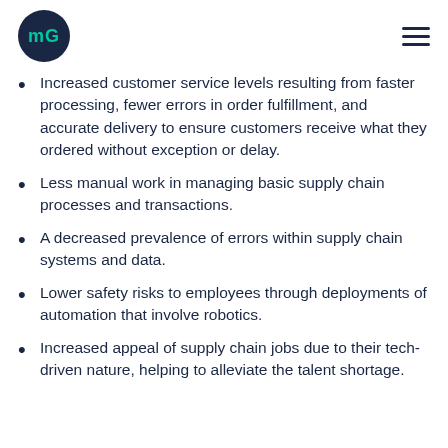mG [logo]
Increased customer service levels resulting from faster processing, fewer errors in order fulfillment, and accurate delivery to ensure customers receive what they ordered without exception or delay.
Less manual work in managing basic supply chain processes and transactions.
A decreased prevalence of errors within supply chain systems and data.
Lower safety risks to employees through deployments of automation that involve robotics.
Increased appeal of supply chain jobs due to their tech-driven nature, helping to alleviate the talent shortage.